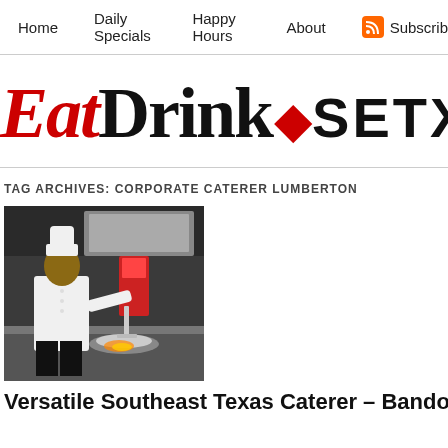Home   Daily Specials   Happy Hours   About   Subscribe
EatDrink◆SETX
TAG ARCHIVES: CORPORATE CATERER LUMBERTON
[Figure (photo): Chef in white uniform cooking in a professional kitchen, sautéing food in a pan over flames]
Versatile Southeast Texas Caterer – Bando